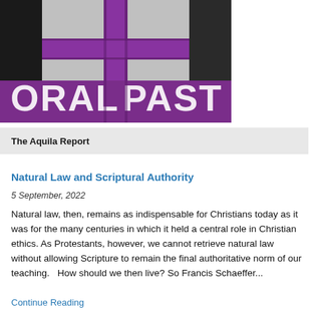[Figure (logo): Church/pastoral logo with purple cross and text reading 'ORAL PAST' (partial view of 'PASTORAL') on a purple banner background, with dark triangular graphic elements]
The Aquila Report
Natural Law and Scriptural Authority
5 September, 2022
Natural law, then, remains as indispensable for Christians today as it was for the many centuries in which it held a central role in Christian ethics. As Protestants, however, we cannot retrieve natural law without allowing Scripture to remain the final authoritative norm of our teaching.   How should we then live? So Francis Schaeffer...
Continue Reading